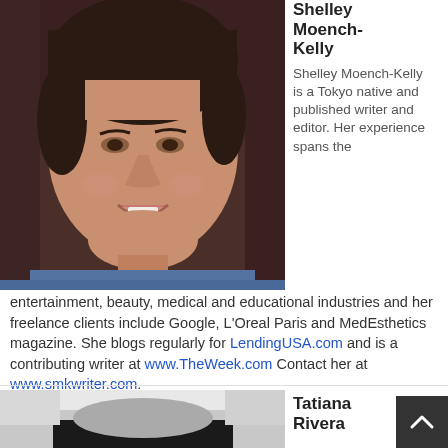[Figure (photo): Headshot photo of Shelley Moench-Kelly, a woman smiling, wearing a blue denim shirt, photographed indoors]
Shelley Moench-Kelly
Shelley Moench-Kelly is a Tokyo native and published writer and editor. Her experience spans the
entertainment, beauty, medical and educational industries and her freelance clients include Google, L'Oreal Paris and MedEsthetics magazine. She blogs regularly for LendingUSA.com and is a contributing writer at www.TheWeek.com Contact her at www.smkwriter.com.
[Figure (photo): Partial headshot of Tatiana Rivera, a woman with dark hair, black and white photo]
Tatiana Rivera